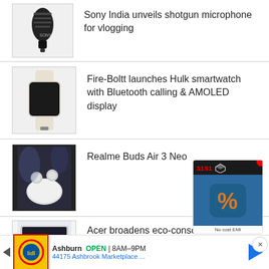[Figure (photo): Sony shotgun microphone product photo]
Sony India unveils shotgun microphone for vlogging
[Figure (photo): Fire-Boltt Hulk smartwatch product photo]
Fire-Boltt launches Hulk smartwatch with Bluetooth calling & AMOLED display
[Figure (photo): Realme Buds Air 3 Neo product photo]
Realme Buds Air 3 Neo
[Figure (photo): Acer Vero product thumbnail]
Acer broadens eco-conscious Vero line
[Figure (screenshot): App advertisement with percentage icon and No cost EMI label]
Ashburn  OPEN | 8AM–9PM
44175 Ashbrook Marketplace ...